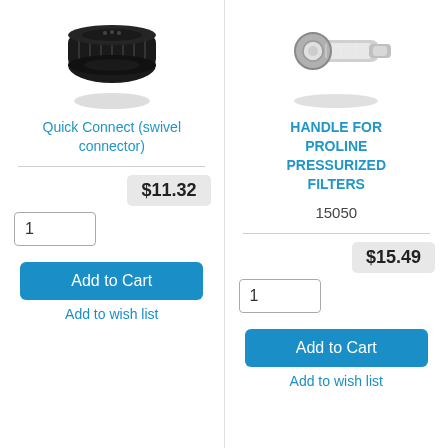[Figure (photo): Black plastic quick connect swivel connector cap, viewed from top/side]
Quick Connect (swivel connector)
[Figure (photo): Silver/chrome metal handle for Proline pressurized filters, showing a wrench-like tool]
HANDLE FOR PROLINE PRESSURIZED FILTERS
15050
$11.32
$15.49
1
1
Add to Cart
Add to Cart
Add to wish list
Add to wish list